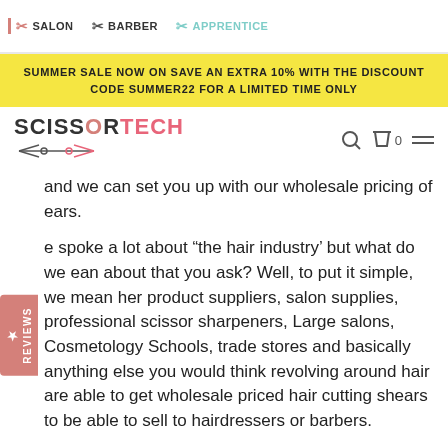SALON  BARBER  APPRENTICE
SUMMER SALE NOW ON SAVE AN EXTRA 10% WITH THE DISCOUNT CODE SUMMER22 FOR A LIMITED TIME ONLY
[Figure (logo): ScissorTech logo with scissors graphic and navigation icons]
and we can set you up with our wholesale pricing of ears.
e spoke a lot about "the hair industry' but what do we ean about that you ask? Well, to put it simple, we mean her product suppliers, salon supplies, professional scissor sharpeners, Large salons, Cosmetology Schools, trade stores and basically anything else you would think revolving around hair are able to get wholesale priced hair cutting shears to be able to sell to hairdressers or barbers.
However, we feel that mainly professional scissor sharpeners and trade only stores benefit the most from being able to receive wholesale hair cutting shears. Shear